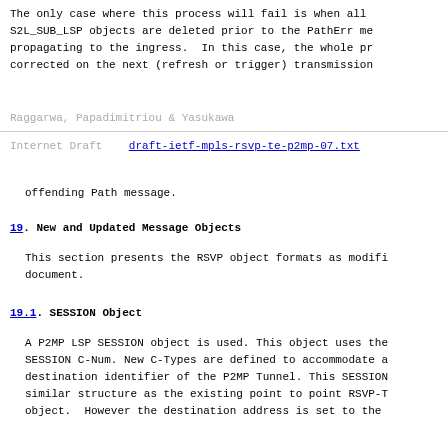The only case where this process will fail is when all S2L_SUB_LSP objects are deleted prior to the PathErr me propagating to the ingress.  In this case, the whole pr corrected on the next (refresh or trigger) transmission
Raggarwa, Papadimitriou & Yasukawa
Internet Draft    draft-ietf-mpls-rsvp-te-p2mp-07.txt
offending Path message.
19. New and Updated Message Objects
This section presents the RSVP object formats as modifi document.
19.1. SESSION Object
A P2MP LSP SESSION object is used. This object uses the SESSION C-Num. New C-Types are defined to accommodate a destination identifier of the P2MP Tunnel. This SESSION similar structure as the existing point to point RSVP-T object.  However the destination address is set to the